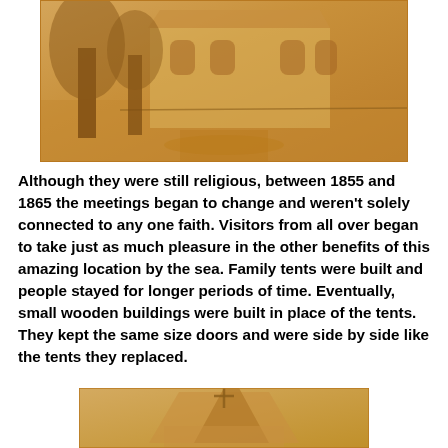[Figure (photo): Sepia-toned historical photograph of a large Victorian-style building with trees in the foreground and a path leading to the entrance.]
Although they were still religious, between 1855 and 1865 the meetings began to change and weren't solely connected to any one faith. Visitors from all over began to take just as much pleasure in the other benefits of this amazing location by the sea. Family tents were built and people stayed for longer periods of time. Eventually, small wooden buildings were built in place of the tents. They kept the same size doors and were side by side like the tents they replaced.
[Figure (photo): Sepia-toned historical photograph showing the top of a small wooden building or tent structure with a pitched roof.]